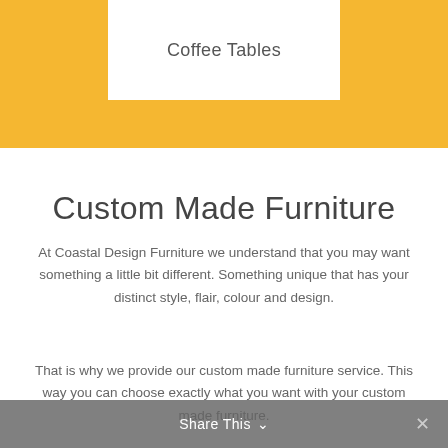Coffee Tables
Custom Made Furniture
At Coastal Design Furniture we understand that you may want something a little bit different. Something unique that has your distinct style, flair, colour and design.
That is why we provide our custom made furniture service. This way you can choose exactly what you want with your custom made furniture.
Share This